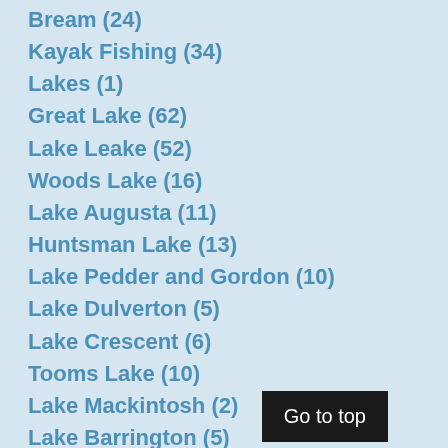Bream (24)
Kayak Fishing (34)
Lakes (1)
Great Lake (62)
Lake Leake (52)
Woods Lake (16)
Lake Augusta (11)
Huntsman Lake (13)
Lake Pedder and Gordon (10)
Lake Dulverton (5)
Lake Crescent (6)
Tooms Lake (10)
Lake Mackintosh (2)
Lake Barrington (5)
Little Lake (8)
Meadowbank Lake (5)